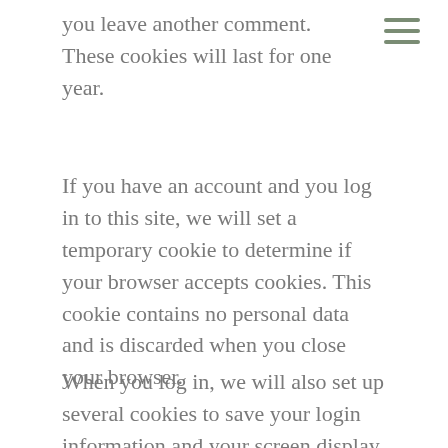you leave another comment. These cookies will last for one year.
If you have an account and you log in to this site, we will set a temporary cookie to determine if your browser accepts cookies. This cookie contains no personal data and is discarded when you close your browser.
When you log in, we will also set up several cookies to save your login information and your screen display choices. Login cookies last for two days,